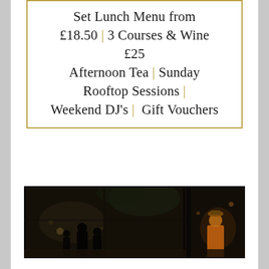Set Lunch Menu from £18.50 | 3 Courses & Wine £25 Afternoon Tea | Sunday Rooftop Sessions | Weekend DJ's | Gift Vouchers
[Figure (photo): Dark interior/rooftop bar scene at night, showing silhouettes of people through large glass windows with ambient warm lighting]